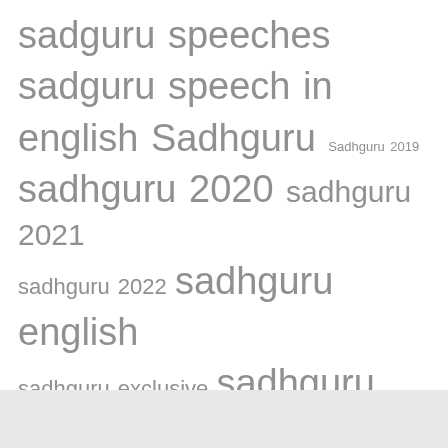sadguru speeches sadguru speech in english Sadhguru Sadhguru 2019 sadhguru 2020 sadhguru 2021 sadhguru 2022 sadhguru english sadhguru exclusive sadhguru interview Sadhguru Jaggi Vasudev sadhguru latest sadhguru meditation sadhguru quotes sadhguru videos satguru seeking spirituality spiritual master steven gundry the dr gundry podcast the plant paradox wisdom yoga